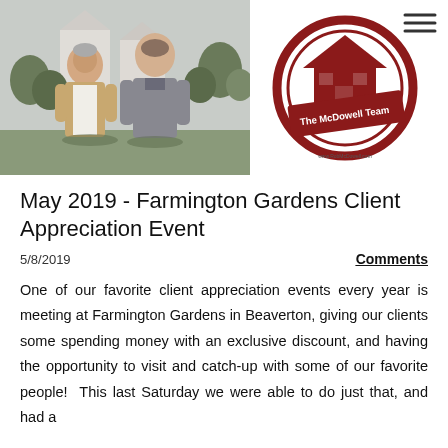[Figure (photo): Two men standing outside in front of houses and trees; an older man in a tan jacket on the left and a younger man in a grey sweater on the right.]
[Figure (logo): The McDowell Team logo: circular dark red border with a house silhouette inside, a dark red diagonal banner with white text 'The McDowell Team', and website URL below.]
May 2019 - Farmington Gardens Client Appreciation Event
5/8/2019
Comments
One of our favorite client appreciation events every year is meeting at Farmington Gardens in Beaverton, giving our clients some spending money with an exclusive discount, and having the opportunity to visit and catch-up with some of our favorite people!  This last Saturday we were able to do just that, and had a